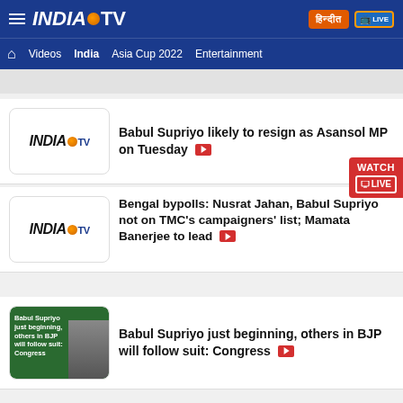INDIA TV - Videos | India | Asia Cup 2022 | Entertainment
Babul Supriyo likely to resign as Asansol MP on Tuesday
Bengal bypolls: Nusrat Jahan, Babul Supriyo not on TMC's campaigners' list; Mamata Banerjee to lead
Babul Supriyo just beginning, others in BJP will follow suit: Congress